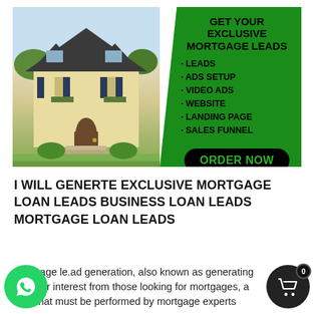[Figure (infographic): Promotional banner with a house photo on the left and green background on the right listing mortgage lead generation services: LEADS, ADS SETUP, VIDEO ADS, WEBSITE, LANDING PAGE, SALES FUNNEL, with an ORDER NOW button]
I WILL GENERTE EXCLUSIVE MORTGAGE LOAN LEADS BUSINESS LOAN LEADS MORTGAGE LOAN LEADS
Mortgage le.ad generation, also known as generating leads or interest from those looking for mortgages, is a task that must be performed by mortgage experts